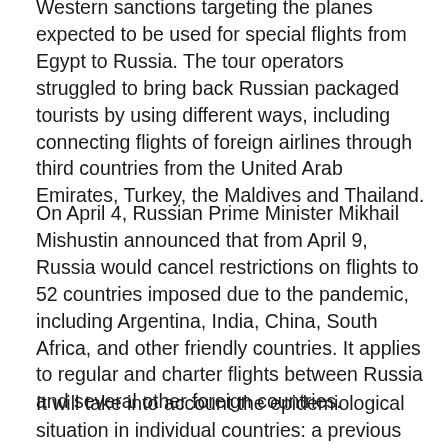Western sanctions targeting the planes expected to be used for special flights from Egypt to Russia. The tour operators struggled to bring back Russian packaged tourists by using different ways, including connecting flights of foreign airlines through third countries from the United Arab Emirates, Turkey, the Maldives and Thailand.
On April 4, Russian Prime Minister Mikhail Mishustin announced that from April 9, Russia would cancel restrictions on flights to 52 countries imposed due to the pandemic, including Argentina, India, China, South Africa, and other friendly countries. It applies to regular and charter flights between Russia and several other foreign countries.
It will take into account the epidemiological situation in individual countries: a previous decision was made to completely lift restrictions on regular and charter flights with Algeria, Argentina, Afghanistan, Bahrain, Bosnia and Herzegovina, Botswana, Brazil, Venezuela, Vietnam, Hong